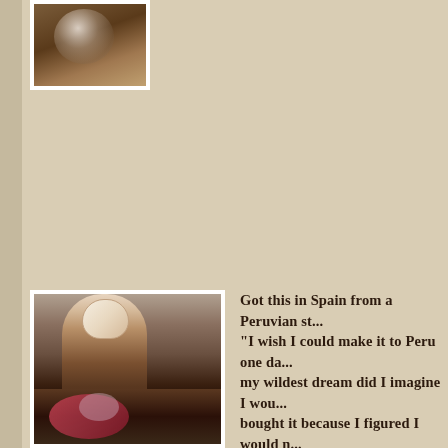[Figure (photo): Close-up photo of a finger wearing a decorative ring, partial view cropped at top of page]
[Figure (photo): Photo of a dark-skinned finger with painted nail, wearing a decorative ring with floral pattern at the bottom]
Got this in Spain from a Peruvian st... "I wish I could make it to Peru one da... my wildest dream did I imagine I wou... bought it because I figured I would n... might as well get something from the...